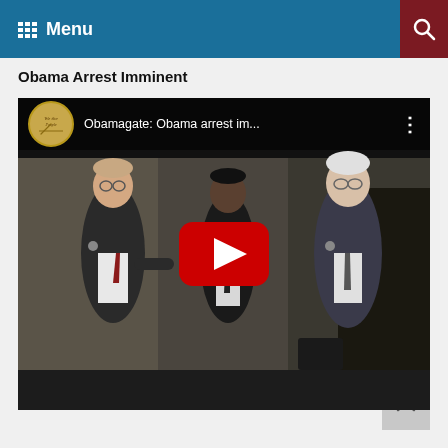Menu
Obama Arrest Imminent
[Figure (screenshot): YouTube video embed showing three men in suits walking, with YouTube play button overlay. Video title reads: 'Obamagate: Obama arrest im...']